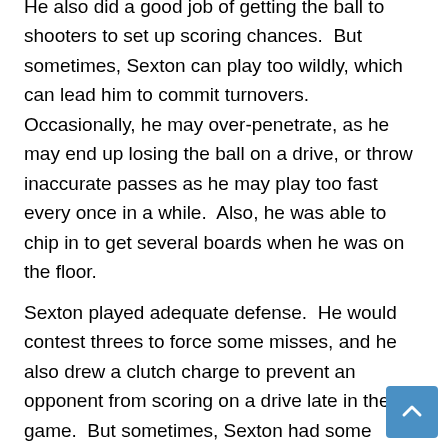He also did a good job of getting the ball to shooters to set up scoring chances. But sometimes, Sexton can play too wildly, which can lead him to commit turnovers. Occasionally, he may over-penetrate, as he may end up losing the ball on a drive, or throw inaccurate passes as he may play too fast every once in a while. Also, he was able to chip in to get several boards when he was on the floor.
Sexton played adequate defense. He would contest threes to force some misses, and he also drew a clutch charge to prevent an opponent from scoring on a drive late in the game. But sometimes, Sexton had some trouble defending opponents off the dribble, as he would not always be in good position to defend them. In